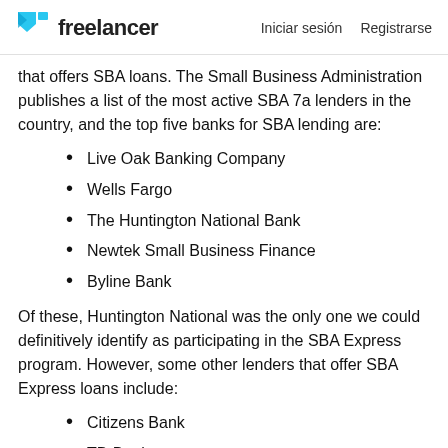Freelancer | Iniciar sesión  Registrarse
that offers SBA loans. The Small Business Administration publishes a list of the most active SBA 7a lenders in the country, and the top five banks for SBA lending are:
Live Oak Banking Company
Wells Fargo
The Huntington National Bank
Newtek Small Business Finance
Byline Bank
Of these, Huntington National was the only one we could definitively identify as participating in the SBA Express program. However, some other lenders that offer SBA Express loans include:
Citizens Bank
TD Bank